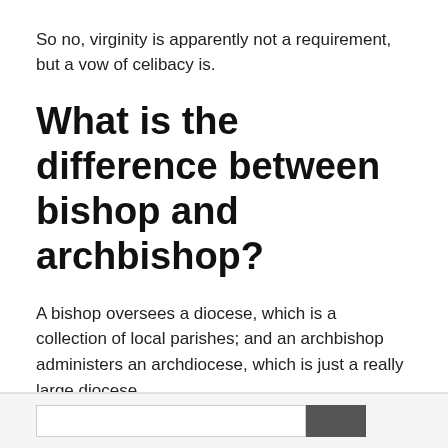So no, virginity is apparently not a requirement, but a vow of celibacy is.
What is the difference between bishop and archbishop?
A bishop oversees a diocese, which is a collection of local parishes; and an archbishop administers an archdiocese, which is just a really large diocese.
About God